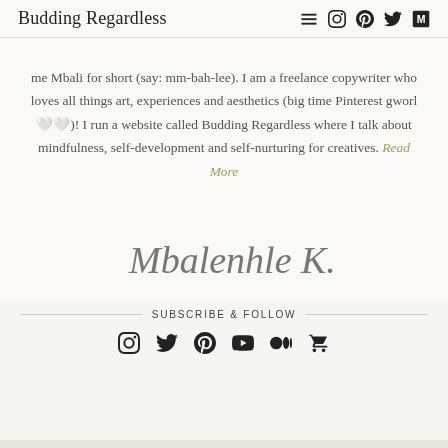Budding Regardless
me Mbali for short (say: mm-bah-lee). I am a freelance copywriter who loves all things art, experiences and aesthetics (big time Pinterest gworl 🤍🤍)! I run a website called Budding Regardless where I talk about mindfulness, self-development and self-nurturing for creatives. Read More
[Figure (illustration): Cursive handwritten signature reading 'Mbalenhle K.']
SUBSCRIBE & FOLLOW
[Figure (infographic): Row of social media icons: Instagram, Twitter, Pinterest, YouTube, Medium, Shopping cart]